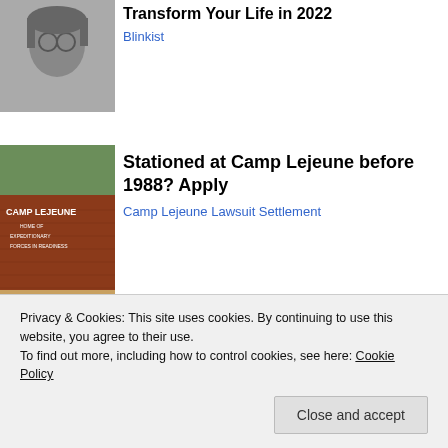[Figure (photo): Black and white photo of young man with glasses and long hair]
Transform Your Life in 2022
Blinkist
[Figure (photo): Camp Lejeune sign - brick wall reading CAMP LEJEUNE HOME OF EXPEDITIONARY FORCES IN READINESS]
Stationed at Camp Lejeune before 1988? Apply
Camp Lejeune Lawsuit Settlement
[Figure (photo): Close-up photo of a fingertip or skin surface]
Privacy & Cookies: This site uses cookies. By continuing to use this website, you agree to their use.
To find out more, including how to control cookies, see here: Cookie Policy
Close and accept